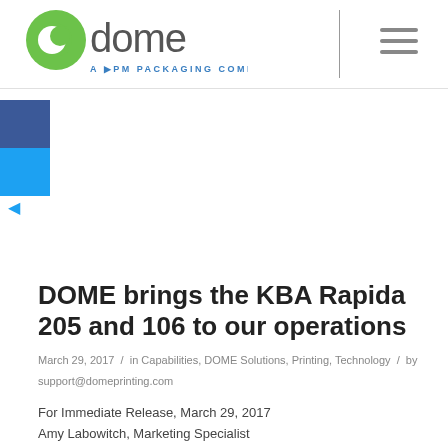[Figure (logo): Dome logo - green circular icon with 'dome' text and 'A PM PACKAGING COMPANY' tagline below]
[Figure (other): Hamburger menu icon (three horizontal lines) on right side of header]
[Figure (other): Social media sidebar with dark blue Facebook block, blue Twitter block, and left-pointing blue arrow below]
DOME brings the KBA Rapida 205 and 106 to our operations
March 29, 2017  /  in Capabilities, DOME Solutions, Printing, Technology  /  by support@domeprinting.com
For Immediate Release, March 29, 2017
Amy Labowitch, Marketing Specialist